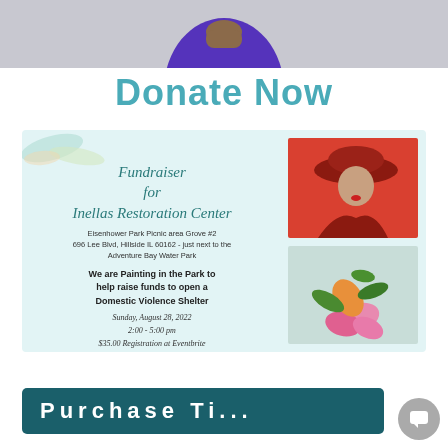[Figure (photo): Top portion showing a person in a purple/blue dress against a light gray background, cropped to show torso and hands]
Donate Now
[Figure (infographic): Fundraiser flyer for Inellas Restoration Center on light blue background with two artwork images on the right: a painting of a woman in a red hat and a floral painting. Text includes event details for a Painting in the Park fundraiser.]
Purchase Ti...